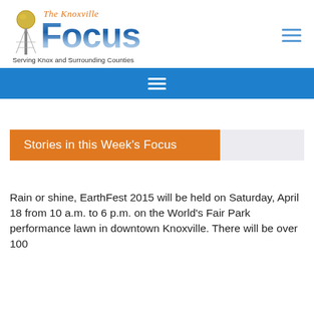[Figure (logo): The Knoxville Focus newspaper logo with Sunsphere tower illustration, 'The Knoxville' in orange italic script above 'Focus' in large blue gradient bold lettering, tagline 'Serving Knox and Surrounding Counties' below]
Stories in this Week's Focus
Rain or shine, EarthFest 2015 will be held on Saturday, April 18 from 10 a.m. to 6 p.m. on the World's Fair Park performance lawn in downtown Knoxville. There will be over 100